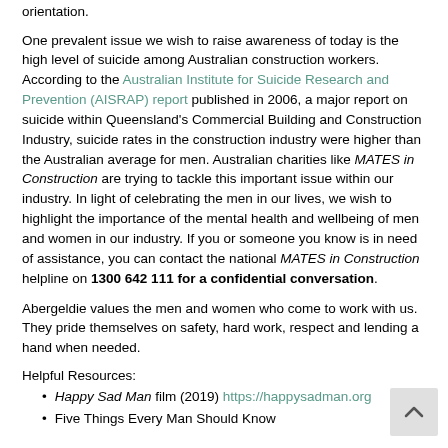orientation.
One prevalent issue we wish to raise awareness of today is the high level of suicide among Australian construction workers. According to the Australian Institute for Suicide Research and Prevention (AISRAP) report published in 2006, a major report on suicide within Queensland's Commercial Building and Construction Industry, suicide rates in the construction industry were higher than the Australian average for men. Australian charities like MATES in Construction are trying to tackle this important issue within our industry. In light of celebrating the men in our lives, we wish to highlight the importance of the mental health and wellbeing of men and women in our industry. If you or someone you know is in need of assistance, you can contact the national MATES in Construction helpline on 1300 642 111 for a confidential conversation.
Abergeldie values the men and women who come to work with us. They pride themselves on safety, hard work, respect and lending a hand when needed.
Helpful Resources:
Happy Sad Man film (2019) https://happysadman.org
Five Things Every Man Should Know